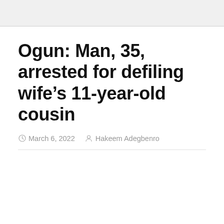Ogun: Man, 35, arrested for defiling wife’s 11-year-old cousin
March 6, 2022  Hakeem Adegbenro